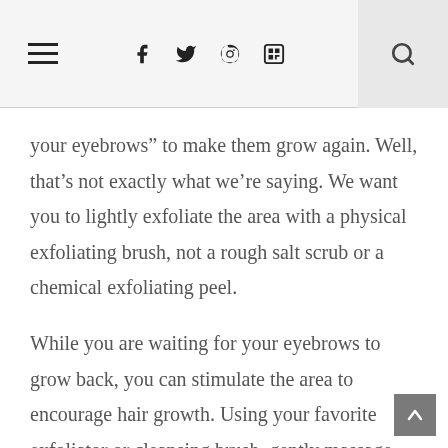Navigation header with hamburger menu, social icons (Facebook, Twitter, Pinterest, Instagram), and search icon
your eyebrows” to make them grow again. Well, that’s not exactly what we’re saying. We want you to lightly exfoliate the area with a physical exfoliating brush, not a rough salt scrub or a chemical exfoliating peel.
While you are waiting for your eyebrows to grow back, you can stimulate the area to encourage hair growth. Using your favorite exfoliator or cleansing brush, gently massage your eyebrows to remove